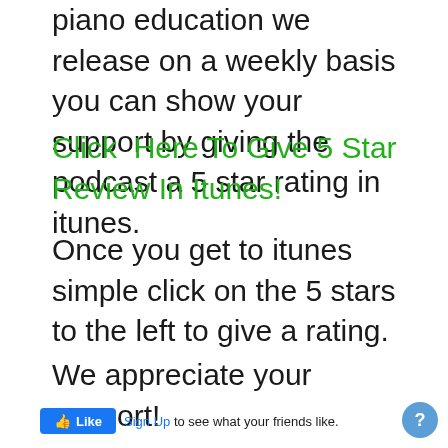piano education we release on a weekly basis you can show your support by giving the podcast a 5 star rating in itunes.
Click  Here To Give 5 Star Review In Itunes!
Once you get to itunes simple click on the 5 stars to the left to give a rating.
We appreciate your support!
[Figure (screenshot): Facebook Like widget with thumbs up Like button and Sign Up link text: 'to see what your friends like.']
[Figure (other): Blue circular help/info button with question mark icon in bottom right corner]